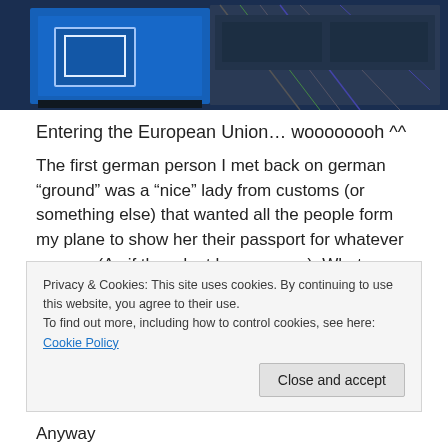[Figure (photo): Photo showing blue EU sign/display screens with cables in the background at what appears to be an airport or border crossing]
Entering the European Union… woooooooh ^^
The first german person I met back on german “ground” was a “nice” lady from customs (or something else) that wanted all the people form my plane to show her their passport for whatever reason. (As if they dont have one….). What was long befor we entered the EU and actually had to show our passports. She was standing right in front of the gateway and annoved all the people
Privacy & Cookies: This site uses cookies. By continuing to use this website, you agree to their use.
To find out more, including how to control cookies, see here: Cookie Policy
Anyway